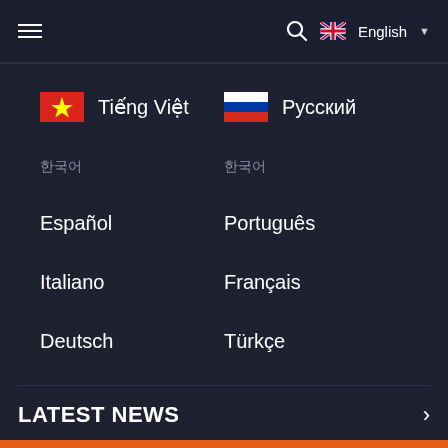≡  🔍  🇬🇧 English ▾
🇻🇳 Tiếng Việt
🇷🇺 Русский
한국어
한국어
Español
Português
Italiano
Français
Deutsch
Türkçe
LATEST NEWS
Register Spectre.ai Get $10,000 free to DEMO account